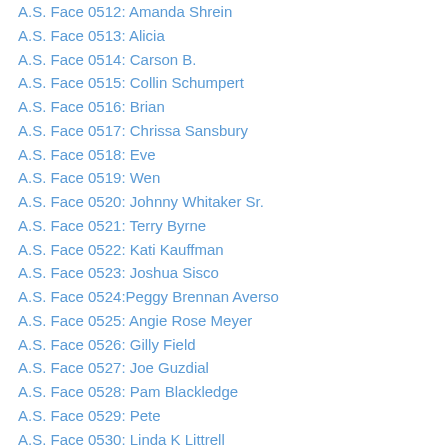A.S. Face 0512: Amanda Shrein
A.S. Face 0513: Alicia
A.S. Face 0514: Carson B.
A.S. Face 0515: Collin Schumpert
A.S. Face 0516: Brian
A.S. Face 0517: Chrissa Sansbury
A.S. Face 0518: Eve
A.S. Face 0519: Wen
A.S. Face 0520: Johnny Whitaker Sr.
A.S. Face 0521: Terry Byrne
A.S. Face 0522: Kati Kauffman
A.S. Face 0523: Joshua Sisco
A.S. Face 0524:Peggy Brennan Averso
A.S. Face 0525: Angie Rose Meyer
A.S. Face 0526: Gilly Field
A.S. Face 0527: Joe Guzdial
A.S. Face 0528: Pam Blackledge
A.S. Face 0529: Pete
A.S. Face 0530: Linda K Littrell
A.S. Face 0531: Nina